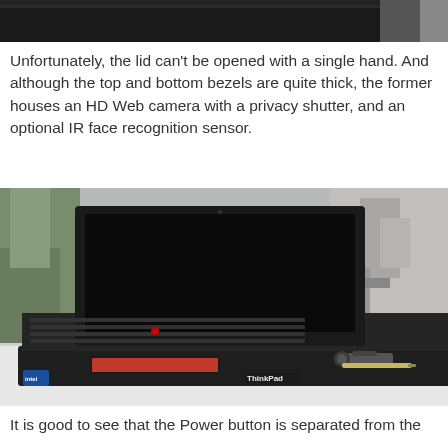[Figure (photo): Partial view of a black laptop bag or laptop lid, cropped at top of page]
Unfortunately, the lid can't be opened with a single hand. And although the top and bottom bezels are quite thick, the former houses an HD Web camera with a privacy shutter, and an optional IR face recognition sensor.
[Figure (photo): Lenovo ThinkPad laptop open on a white desk with a car key and pen on the right side. The laptop has a black keyboard with red TrackPoint, blue Intel sticker, and ThinkPad logo. Background is blurred indoor setting.]
It is good to see that the Power button is separated from the